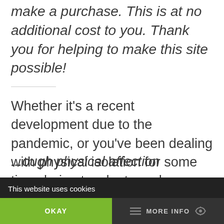make a purchase. This is at no additional cost to you. Thank you for helping to make this site possible!
Whether it’s a recent development due to the pandemic, or you’ve been dealing with physical isolation for some time, being touch starved can really take a toll on your mental health.
There are plenty of people around the world
...ough physical affection
This website uses cookies
OKAY
MORE INFO